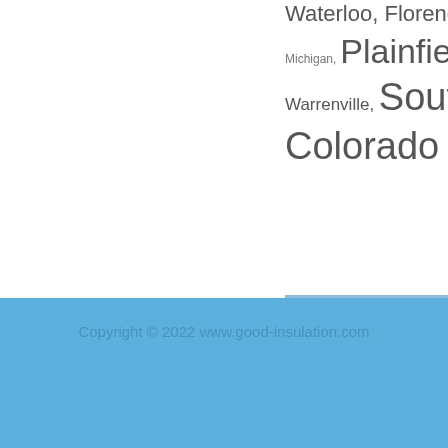Waterloo, Florence, Ke Michigan, Plainfield, Sa Warrenville, South S Colorado Spring
Comments page 0 of 0
Click here to add a comment
There are currently 0 comments
Copyright © 2022 www.good-insulation.com